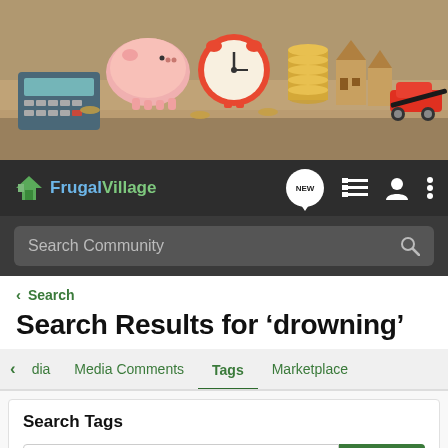[Figure (photo): Hero banner photo showing financial items: piggy bank, alarm clock, stacked coins, wooden house models, toy red car, calculator, and pen on a sandy surface.]
[Figure (screenshot): FrugalVillage navigation bar with logo, NEW chat bubble, list icon, user icon, and menu icon on dark background. Below is a search bar with 'Search Community' placeholder text and magnifying glass icon.]
< Search
Search Results for ‘drowning’
dia   Media Comments   Tags   Marketplace
Search Tags
× drowning   Search